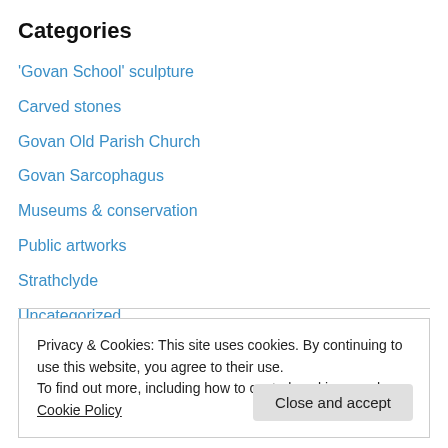Categories
'Govan School' sculpture
Carved stones
Govan Old Parish Church
Govan Sarcophagus
Museums & conservation
Public artworks
Strathclyde
Uncategorized
Privacy & Cookies: This site uses cookies. By continuing to use this website, you agree to their use.
To find out more, including how to control cookies, see here: Cookie Policy
Close and accept